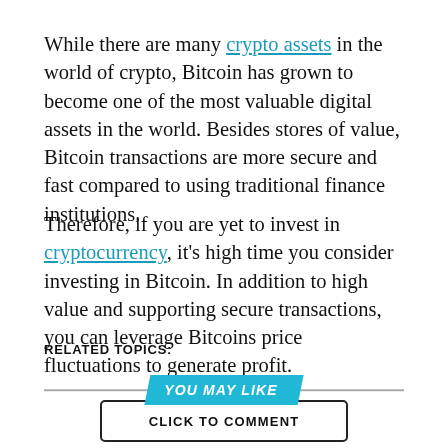While there are many crypto assets in the world of crypto, Bitcoin has grown to become one of the most valuable digital assets in the world. Besides stores of value, Bitcoin transactions are more secure and fast compared to using traditional finance institutions.
Therefore, if you are yet to invest in cryptocurrency, it's high time you consider investing in Bitcoin. In addition to high value and supporting secure transactions, you can leverage Bitcoins price fluctuations to generate profit.
RELATED TOPICS:
YOU MAY LIKE
CLICK TO COMMENT